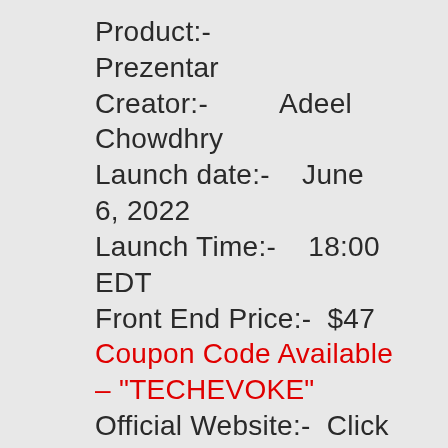Product:- Prezentar
Creator:- Adeel Chowdhry
Launch date:- June 6, 2022
Launch Time:- 18:00 EDT
Front End Price:- $47
Coupon Code Available – "TECHEVOKE"
Official Website:- Click